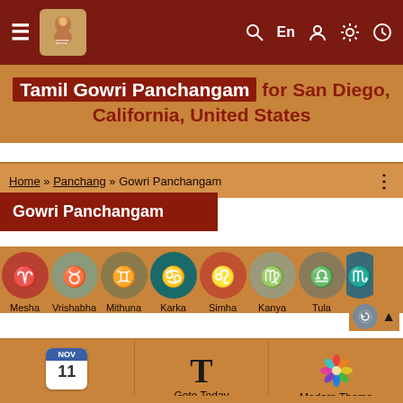≡  [logo]  Q  En  [user]  [settings]  [clock]
Tamil Gowri Panchangam for San Diego, California, United States
Home » Panchang » Gowri Panchangam
Gowri Panchangam
[Figure (other): Zodiac sign icons: Mesha, Vrishabha, Mithuna, Karka, Simha, Kanya, Tula, Vrish (partially visible)]
[Figure (infographic): Bottom action buttons: Change Date (NOV 11 calendar icon), Goto Today (T icon), Modern Theme (colorful flower icon)]